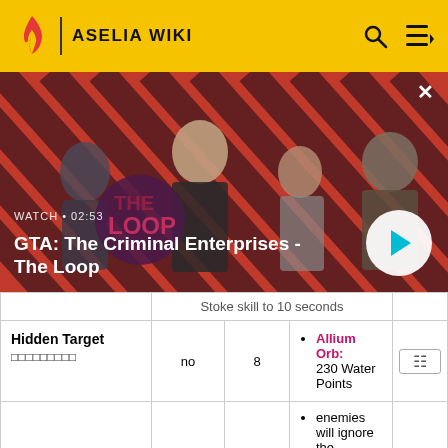ASELIA WIKI
[Figure (screenshot): Video thumbnail showing GTA: The Criminal Enterprises - The Loop with characters on a red diagonal striped background. Shows WATCH • 02:53 label and play button.]
|  |  |  |  |  |
| --- | --- | --- | --- | --- |
| Hidden Target
□□□□□□□□□ | no | 8 | Allium Orb: 230 Water Points |  |
|  |  |  | enemies will ignore the character for 5 seconds after using the |  |